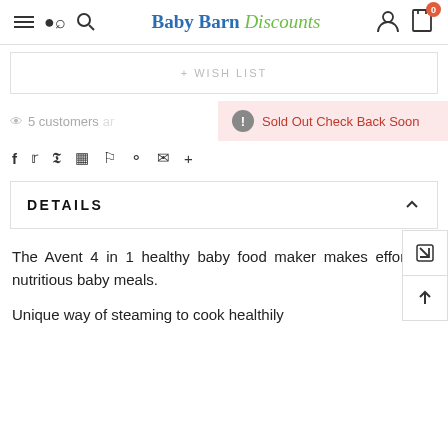Baby Barn Discounts
+ WISH LIST
5 customers are viewing this product
Sold Out Check Back Soon
DETAILS
The Avent 4 in 1 healthy baby food maker makes effortless nutritious baby meals.
Unique way of steaming to cook healthily